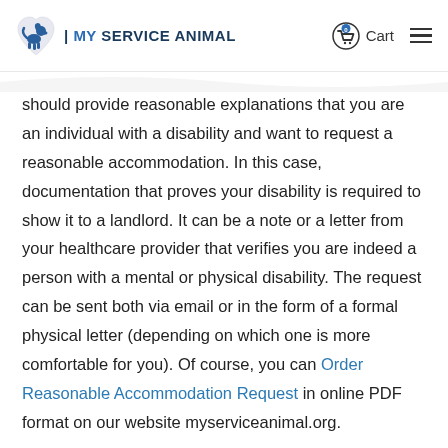MY SERVICE ANIMAL | Cart | Menu
should provide reasonable explanations that you are an individual with a disability and want to request a reasonable accommodation. In this case, documentation that proves your disability is required to show it to a landlord. It can be a note or a letter from your healthcare provider that verifies you are indeed a person with a mental or physical disability. The request can be sent both via email or in the form of a formal physical letter (depending on which one is more comfortable for you). Of course, you can Order Reasonable Accommodation Request in online PDF format on our website myserviceanimal.org.